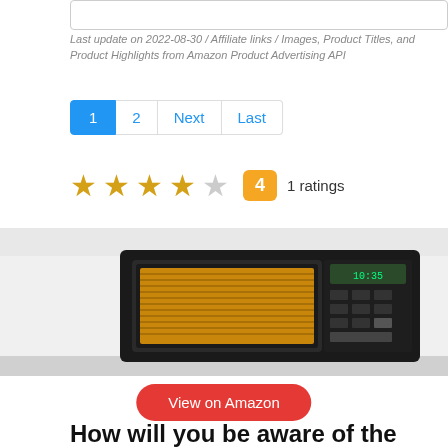Last update on 2022-08-30 / Affiliate links / Images, Product Titles, and Product Highlights from Amazon Product Advertising API
1  2  Next  Last
★ ★ ★ ★ ☆  4  1 ratings
[Figure (photo): Black microwave oven on a white surface, showing the door with amber-colored interior and a digital control panel on the right side.]
View on Amazon
How will you be aware of the